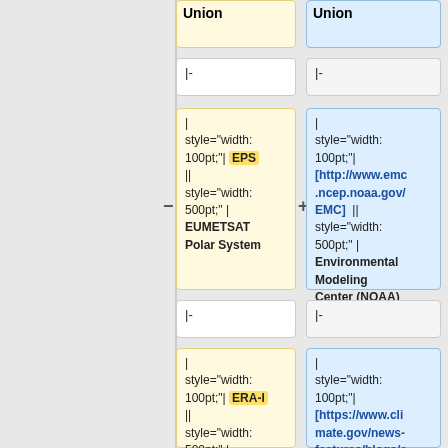Union
|-
|-
| style="width: 100pt;"| EPS || style="width: 500pt;" | EUMETSAT Polar System
| style="width: 100pt;"| [http://www.emc.ncep.noaa.gov/ EMC] || style="width: 500pt;" | Environmental Modeling Center (NOAA)
|-
|-
| style="width: 100pt;"| ERA-I || style="width: 500pt;" |
| style="width: 100pt;"| [https://www.climate.gov/news-features/blogs/e